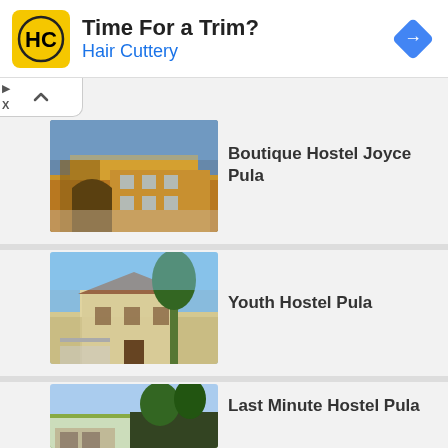[Figure (screenshot): Advertisement banner for Hair Cuttery with logo, text 'Time For a Trim? Hair Cuttery', and a blue navigation diamond icon]
Time For a Trim?
Hair Cuttery
Boutique Hostel Joyce Pula
[Figure (photo): Exterior of Boutique Hostel Joyce Pula - orange building with arched gate]
Youth Hostel Pula
[Figure (photo): Exterior of Youth Hostel Pula - white building with outdoor seating area]
Last Minute Hostel Pula
[Figure (photo): Exterior of Last Minute Hostel Pula - outdoor terrace with seating and green trees]